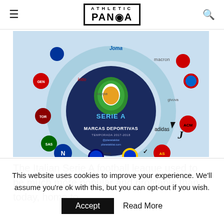Athletic Panda
[Figure (infographic): Serie A 2017-2018 sports brands infographic showing a circular chart with club logos and their kit suppliers including Joma, Kappa, Lotto, Adidas, Nike, Zeus, Macron, Givova around the Serie A logo. Title: MARCAS DEPORTIVAS TEMPORADA 2017-2018]
The Italian Serie A football league used to be much more popular and profitable than today, home to
This website uses cookies to improve your experience. We'll assume you're ok with this, but you can opt-out if you wish. Accept  Read More